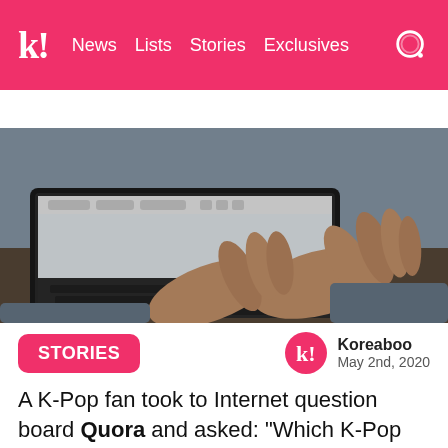k! News Lists Stories Exclusives
BTS BLACKPINK Girls' Generation NCT TWICE aespa
[Figure (photo): Person's hands typing on a laptop keyboard, viewed from above at an angle. The Quora website interface is partially visible on the laptop screen. Dark background.]
STORIES
Koreaboo
May 2nd, 2020
A K-Pop fan took to Internet question board Quora and asked: "Which K-Pop idol takes fan service too far?"